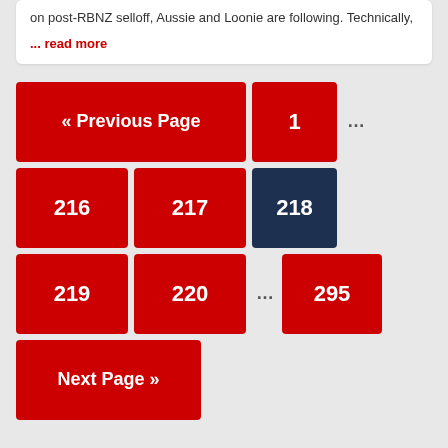on post-RBNZ selloff, Aussie and Loonie are following. Technically,
... read more
« Previous Page
1
216
217
218
219
220
295
Next Page »